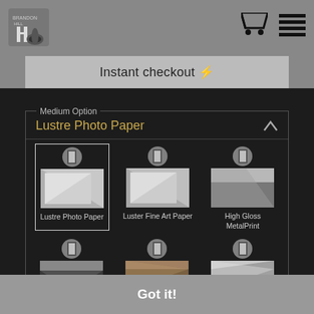Instant checkout ⚡
Medium Option
Lustre Photo Paper
[Figure (screenshot): Grid of medium options showing Lustre Photo Paper (selected), Luster Fine Art Paper, High Gloss MetalPrint in top row, and three partially visible options in bottom row, each with a circular icon and thumbnail image.]
This website uses cookies to ensure you get the best experience on our website.
Got it!